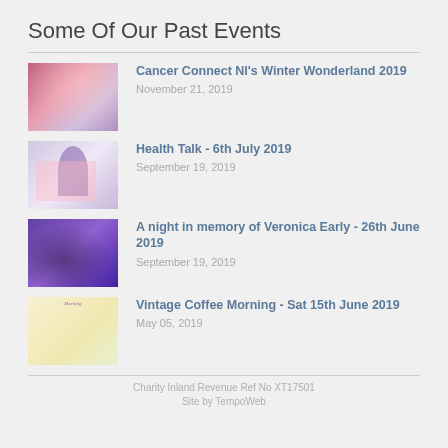Some Of Our Past Events
Cancer Connect NI's Winter Wonderland 2019 — November 21, 2019
Health Talk - 6th July 2019 — September 19, 2019
A night in memory of Veronica Early - 26th June 2019 — September 19, 2019
Vintage Coffee Morning - Sat 15th June 2019 — May 05, 2019
Charity Inland Revenue Ref No XT17501
Site by TempoWeb